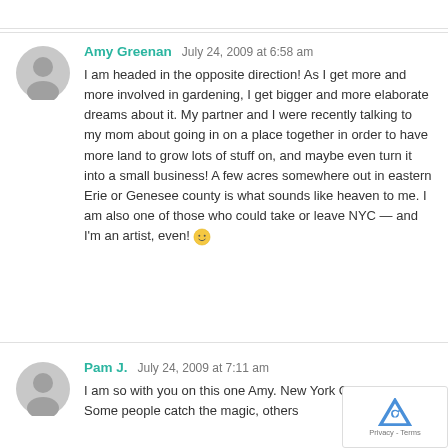Amy Greenan   July 24, 2009 at 6:58 am
I am headed in the opposite direction! As I get more and more involved in gardening, I get bigger and more elaborate dreams about it. My partner and I were recently talking to my mom about going in on a place together in order to have more land to grow lots of stuff on, and maybe even turn it into a small business! A few acres somewhere out in eastern Erie or Genesee county is what sounds like heaven to me. I am also one of those who could take or leave NYC — and I'm an artist, even! 🙂
Pam J.   July 24, 2009 at 7:11 am
I am so with you on this one Amy. New York C... magic place. Some people catch the magic, others...